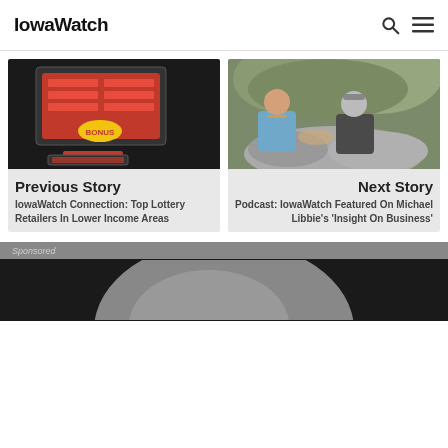IowaWatch
[Figure (photo): Photo of lottery scratch tickets displayed in a vending machine or retail display case against a dark background]
Previous Story
IowaWatch Connection: Top Lottery Retailers In Lower Income Areas
[Figure (photo): Photo of two men sitting outdoors having a conversation, one in a light blue shirt with a tie, the other in a dark blazer]
Next Story
Podcast: IowaWatch Featured On Michael Libbie's 'Insight On Business'
Sponsored